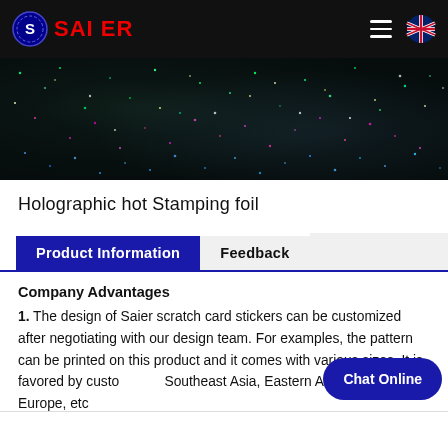SAIER
[Figure (photo): Close-up of holographic hot stamping foil with iridescent glitter/sparkle texture in dark tones with green, blue, and pink highlights]
Holographic hot Stamping foil
Product Information | Feedback
Company Advantages
1. The design of Saier scratch card stickers can be customized after negotiating with our design team. For examples, the pattern can be printed on this product and it comes with various sizes. It is favored by customers in Southeast Asia, Eastern Asia, Eastern Europe, etc